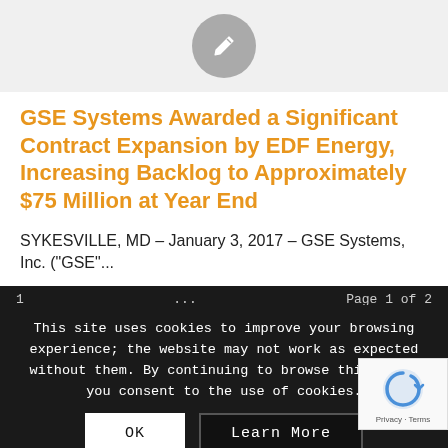[Figure (illustration): Gray circular icon with a pencil/edit symbol in white, centered at the top of the page on a light gray background]
GSE Systems Awarded a Significant Contract Expansion by EDF Energy, Increasing Backlog to Approximately $75 Million at Year End
SYKESVILLE, MD – January 3, 2017 – GSE Systems, Inc. ("GSE"...
1 ... Page 1 of 2
This site uses cookies to improve your browsing experience; the website may not work as expected without them. By continuing to browse this site, you consent to the use of cookies.